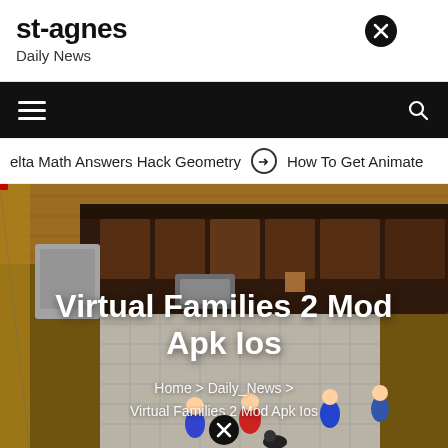st-agnes
Daily News
[Figure (screenshot): Navigation bar with hamburger menu on left and search icon on right, black background]
elta Math Answers Hack Geometry   ➡   How To Get Animate
[Figure (screenshot): Hero image of Virtual Families 2 game showing isometric view of a house with cartoon characters in kitchen area]
Virtual Families 2 Mod Apk Ios
Home > Daily_News > Virtual Families 2 Mod Apk Ios